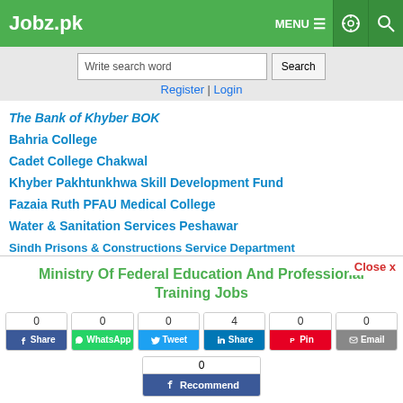Jobz.pk | MENU | settings | search
Write search word | Search | Register | Login
The Bank of Khyber BOK
Bahria College
Cadet College Chakwal
Khyber Pakhtunkhwa Skill Development Fund
Fazaia Ruth PFAU Medical College
Water & Sanitation Services Peshawar
Sindh Prisons & Constructions Service Department
National Centre For Physics
Ministry Of Federal Education And Professional Training Jobs
Share buttons: Facebook 0, WhatsApp 0, Tweet 0, LinkedIn Share 4, Pinterest Pin 0, Email 0, Facebook Recommend 0
Job Closed | Save | Comment | Print | ^ (scroll up)